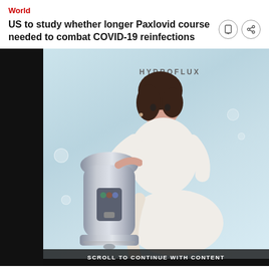World
US to study whether longer Paxlovid course needed to combat COVID-19 reinfections
[Figure (photo): Advertisement for Hydroflux brand featuring a woman in white clothing leaning on a silver water dispenser/appliance against a light blue background.]
SCROLL TO CONTINUE WITH CONTENT